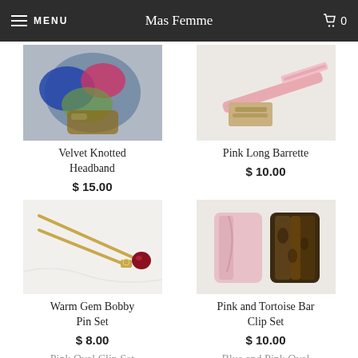MENU   Mas Femme   0
[Figure (photo): Photo of velvet knotted headbands in blue, pink, and floral patterns in a jar]
Velvet Knotted Headband
$ 15.00
[Figure (photo): Photo of pink long barrette hair clip on marble surface]
Pink Long Barrette
$ 10.00
[Figure (photo): Photo of warm gem bobby pin set with gold pins and red gem on white surface]
Warm Gem Bobby Pin Set
$ 8.00
[Figure (photo): Photo of pink and tortoise bar clip set showing pink marble and tortoiseshell clips]
Pink and Tortoise Bar Clip Set
$ 10.00
Pink Oval Clip Set
Blue and Pink Oval